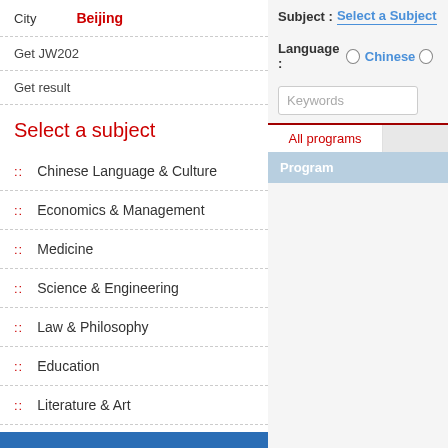City  Beijing
Get JW202
Get result
Select a subject
Chinese Language & Culture
Economics & Management
Medicine
Science & Engineering
Law & Philosophy
Education
Literature & Art
Agriculture & Forestry
Subject : Select a Subject
Language :  Chinese
Keywords
All programs
Program